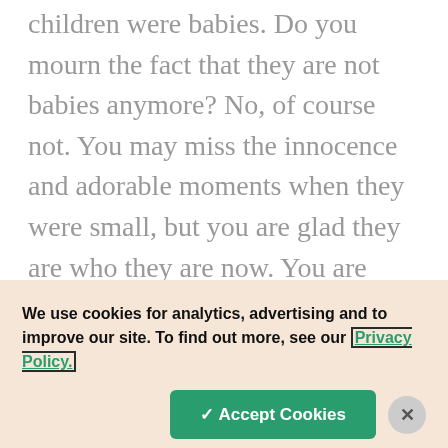children were babies. Do you mourn the fact that they are not babies anymore? No, of course not. You may miss the innocence and adorable moments when they were small, but you are glad they are who they are now. You are glad that they have grown and they have become something better than they once were. I don't mean to trivialize the death of a child because I certainly know that it is one of the greatest mortal trials we will be asked to face. The separation, grief, anger, confusion and even guilt families experience is very real
We use cookies for analytics, advertising and to improve our site. To find out more, see our Privacy Policy.